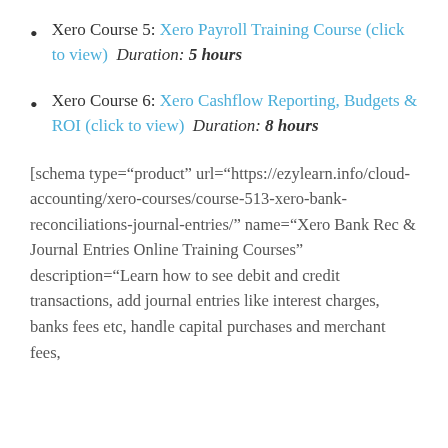Xero Course 5: Xero Payroll Training Course (click to view)  Duration: 5 hours
Xero Course 6: Xero Cashflow Reporting, Budgets & ROI (click to view)  Duration: 8 hours
[schema type="product" url="https://ezylearn.info/cloud-accounting/xero-courses/course-513-xero-bank-reconciliations-journal-entries/" name="Xero Bank Rec & Journal Entries Online Training Courses" description="Learn how to see debit and credit transactions, add journal entries like interest charges, banks fees etc, handle capital purchases and merchant fees,